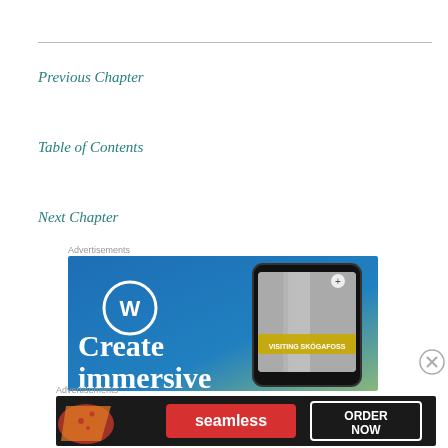Previous Chapter
Table of Contents
Next Chapter
Advertisements
[Figure (illustration): WordPress advertisement showing 'Create immersive' text with a smartphone displaying 'VISITING SKÓGAFOSS' on a blue to green gradient background with WordPress logo]
Advertisements
[Figure (illustration): Seamless food delivery advertisement showing pizza slices on dark background with Seamless logo and 'ORDER NOW' button]